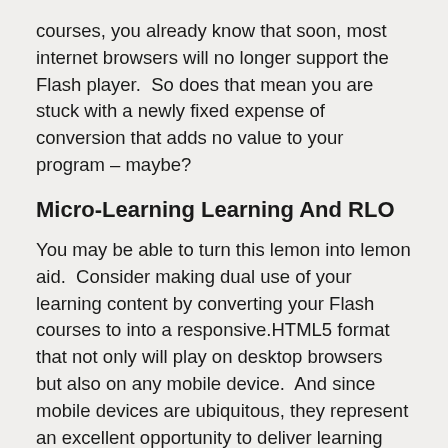courses, you already know that soon, most internet browsers will no longer support the Flash player.  So does that mean you are stuck with a newly fixed expense of conversion that adds no value to your program – maybe?
Micro-Learning Learning And RLO
You may be able to turn this lemon into lemon aid.  Consider making dual use of your learning content by converting your Flash courses to into a responsive.HTML5 format that not only will play on desktop browsers but also on any mobile device.  And since mobile devices are ubiquitous, they represent an excellent opportunity to deliver learning opportunities accessible anytime – anywhere and performance support in the flow of daily work.
Unfortunately, your budget probably didn't double to